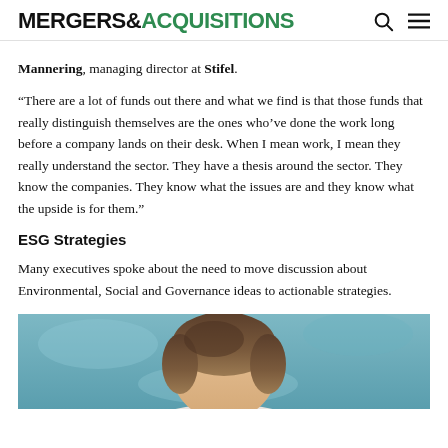MERGERS & ACQUISITIONS
Mannering, managing director at Stifel.
“There are a lot of funds out there and what we find is that those funds that really distinguish themselves are the ones who’ve done the work long before a company lands on their desk. When I mean work, I mean they really understand the sector. They have a thesis around the sector. They know the companies. They know what the issues are and they know what the upside is for them.”
ESG Strategies
Many executives spoke about the need to move discussion about Environmental, Social and Governance ideas to actionable strategies.
[Figure (photo): Photograph of a person with brown hair, photographed against a blurred blue-green background, visible from the shoulders up. Only the top of the head and hair are visible as the image is cropped.]